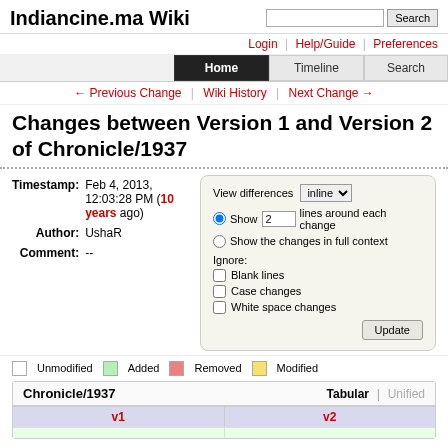Indiancine.ma Wiki
Changes between Version 1 and Version 2 of Chronicle/1937
Timestamp: Feb 4, 2013, 12:03:28 PM (10 years ago)
Author: UshaR
Comment: --
View differences inline
Show 2 lines around each change
Show the changes in full context
Ignore: Blank lines, Case changes, White space changes
Unmodified  Added  Removed  Modified
| v1 | v2 |  |
| --- | --- | --- |